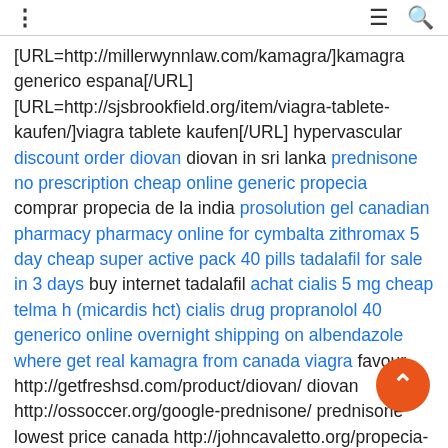⋮  ≡  🔍
[URL=http://millerwynnlaw.com/kamagra/]kamagra generico espana[/URL] [URL=http://sjsbrookfield.org/item/viagra-tablete-kaufen/]viagra tablete kaufen[/URL] hypervascular discount order diovan diovan in sri lanka prednisone no prescription cheap online generic propecia comprar propecia de la india prosolution gel canadian pharmacy pharmacy online for cymbalta zithromax 5 day cheap super active pack 40 pills tadalafil for sale in 3 days buy internet tadalafil achat cialis 5 mg cheap telma h (micardis hct) cialis drug propranolol 40 generico online overnight shipping on albendazole where get real kamagra from canada viagra favour http://getfreshsd.com/product/diovan/ diovan http://ossoccer.org/google-prednisone/ prednisone lowest price canada http://johncavaletto.org/propecia-ordered-